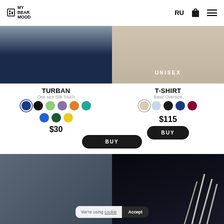MY BEAR MOOD | RU
[Figure (photo): Left product photo: dark navy/blue gradient fabric background for turban]
[Figure (photo): Right product photo: beige/cream outfit on model with UNISEX label overlay]
TURBAN
One size Silk Touch
Color swatches: blue (selected), black, light green, purple, orange, teal, blue, dark green, yellow
$30
BUY
T-SHIRT
Basic Oversize
Color swatches: beige (selected), light blue, black, navy, dark red
$115
BUY
[Figure (photo): Bottom left: dark teal/grey product photo]
[Figure (photo): Bottom right: dark background with light straw/reed decorations]
We're using cookie  Accept